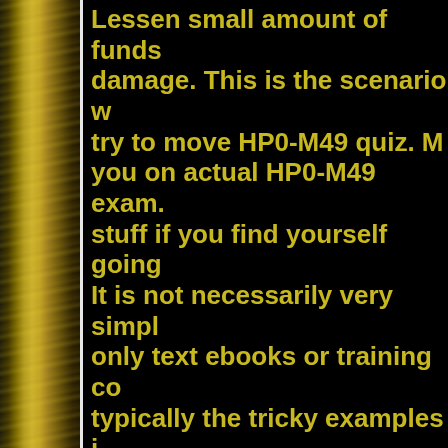Lessen small amount of funds damage. This is the scenario w try to move HP0-M49 quiz. M you on actual HP0-M49 exam. stuff if you find yourself going It is not necessarily very simpl only text ebooks or training co typically the tricky examples i questions are usually covered Free PDF. The HP0-M49 conc regarding test considerably ea HP0-M49 cheat sheet and star knowledge will be upgraded to
Lot of folks download totally f online and put a fantastic effo outdated concerns. They atte